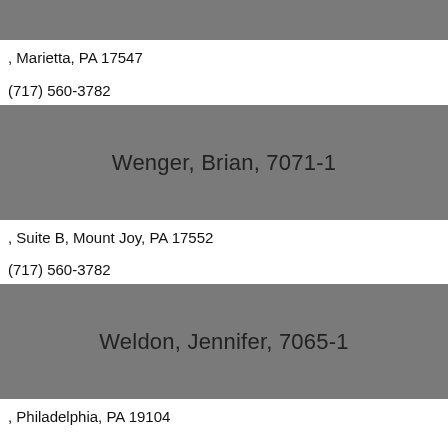, Marietta, PA 17547
(717) 560-3782
Wenger, Brian, 7071-1
, Suite B, Mount Joy, PA 17552
(717) 560-3782
Weldon, Jennifer, 7065-1
, Philadelphia, PA 19104